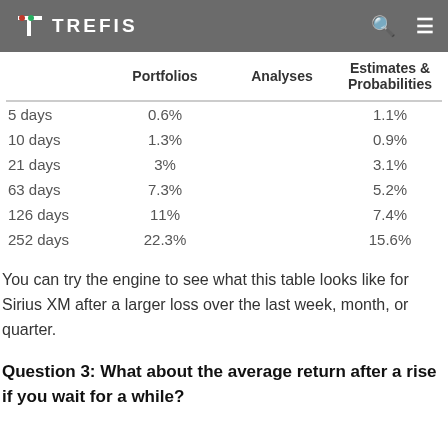TREFIS
|  | Portfolios | Analyses | Estimates & Probabilities |
| --- | --- | --- | --- |
| 5 days | 0.6% | 1.1% |
| 10 days | 1.3% | 0.9% |
| 21 days | 3% | 3.1% |
| 63 days | 7.3% | 5.2% |
| 126 days | 11% | 7.4% |
| 252 days | 22.3% | 15.6% |
You can try the engine to see what this table looks like for Sirius XM after a larger loss over the last week, month, or quarter.
Question 3: What about the average return after a rise if you wait for a while?